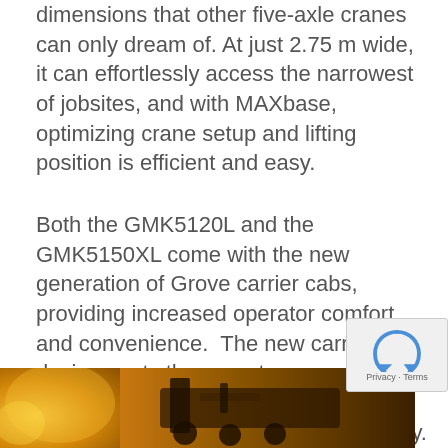dimensions that other five-axle cranes can only dream of. At just 2.75 m wide, it can effortlessly access the narrowest of jobsites, and with MAXbase, optimizing crane setup and lifting position is efficient and easy.
Both the GMK5120L and the GMK5150XL come with the new generation of Grove carrier cabs, providing increased operator comfort and convenience.  The new carrier cab design seats the operator an extra 235 mm away from the centerline, enhancing visibility and maneuverability.
[Figure (photo): Partial view of a crane or heavy machinery in a warmly lit environment, with golden/orange tones suggesting indoor or low-light outdoor setting.]